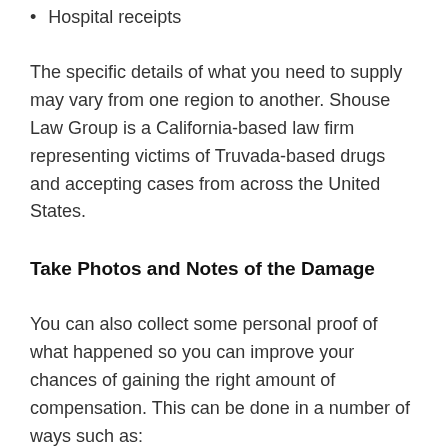Hospital receipts
The specific details of what you need to supply may vary from one region to another. Shouse Law Group is a California-based law firm representing victims of Truvada-based drugs and accepting cases from across the United States.
Take Photos and Notes of the Damage
You can also collect some personal proof of what happened so you can improve your chances of gaining the right amount of compensation. This can be done in a number of ways such as:
Taking photographs of injuries and other damage